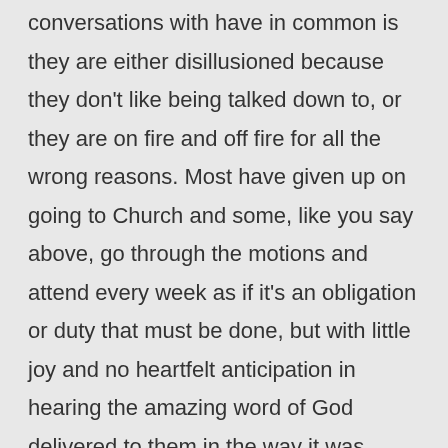conversations with have in common is they are either disillusioned because they don't like being talked down to, or they are on fire and off fire for all the wrong reasons. Most have given up on going to Church and some, like you say above, go through the motions and attend every week as if it's an obligation or duty that must be done, but with little joy and no heartfelt anticipation in hearing the amazing word of God delivered to them in the way it was meant to be represented. It reminds me of how history is taught